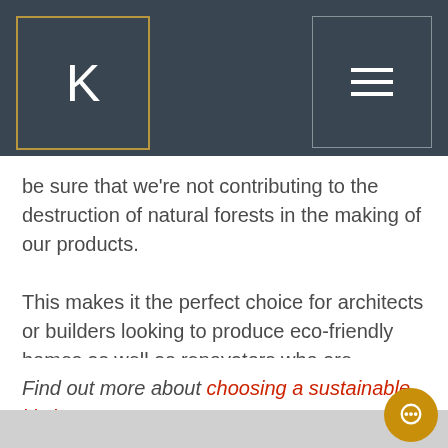[Figure (logo): Website header bar with dark slate background, a logo box outlined in gold containing a stylized letter K, and a hamburger menu icon in a grey-outlined box on the right]
be sure that we're not contributing to the destruction of natural forests in the making of our products.
This makes it the perfect choice for architects or builders looking to produce eco-friendly homes as well as renovators who are concerned with making environmentally friendly choices.
Find out more about choosing a sustainable kitchen.